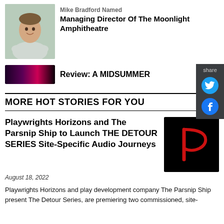[Figure (photo): Headshot of a smiling man with arms crossed, wearing a light grey sweatshirt, outdoor background]
Mike Bradford Named Managing Director Of The Moonlight Amphitheatre
[Figure (photo): Dark thumbnail image with purple, pink and red tones for a review article]
Review: A MIDSUMMER
MORE HOT STORIES FOR YOU
Playwrights Horizons and The Parsnip Ship to Launch THE DETOUR SERIES Site-Specific Audio Journeys
[Figure (logo): Black square logo with a stylized red letter P in script font]
August 18, 2022
Playwrights Horizons and play development company The Parsnip Ship present The Detour Series, are premiering two commissioned, site-